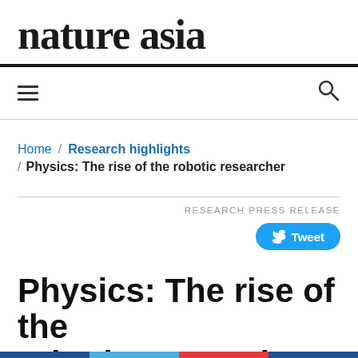nature asia
Home / Research highlights / Physics: The rise of the robotic researcher
RESEARCH PRESS RELEASE
Tweet
Physics: The rise of the robotic researcher